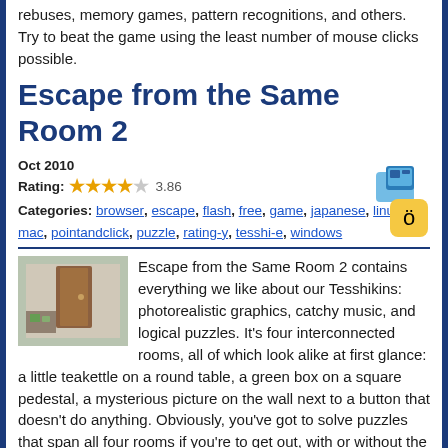rebuses, memory games, pattern recognitions, and others. Try to beat the game using the least number of mouse clicks possible.
Escape from the Same Room 2
Oct 2010
Rating: 3.86
Categories: browser, escape, flash, free, game, japanese, linux, mac, pointandclick, puzzle, rating-y, tesshi-e, windows
Escape from the Same Room 2 contains everything we like about our Tesshikins: photorealistic graphics, catchy music, and logical puzzles. It's four interconnected rooms, all of which look alike at first glance: a little teakettle on a round table, a green box on a square pedestal, a mysterious picture on the wall next to a button that doesn't do anything. Obviously, you've got to solve puzzles that span all four rooms if you're to get out, with or without the